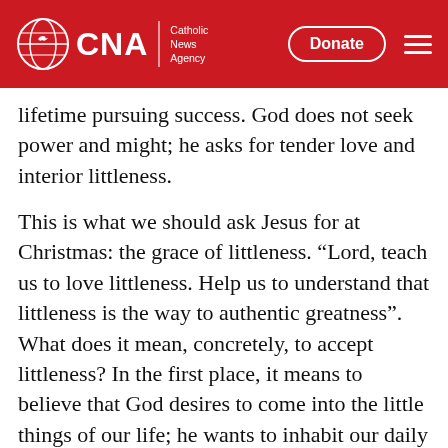CNA | Catholic News Agency — Donate
lifetime pursuing success. God does not seek power and might; he asks for tender love and interior littleness.
This is what we should ask Jesus for at Christmas: the grace of littleness. “Lord, teach us to love littleness. Help us to understand that littleness is the way to authentic greatness”. What does it mean, concretely, to accept littleness? In the first place, it means to believe that God desires to come into the little things of our life; he wants to inhabit our daily lives, the things we do each day at home, in our families, at school and in the workplace. Amid our